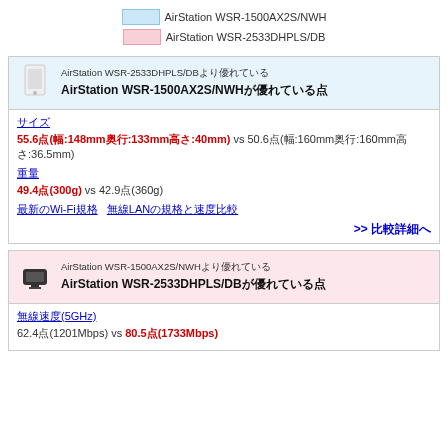[Figure (infographic): Legend showing two colored boxes: blue for AirStation WSR-1500AX2S/NWH and pink for AirStation WSR-2533DHPLS/DB]
[Figure (infographic): Card with blue header showing white router icon. Subtext: AirStation WSR-2533DHPLS/DB vs comparison. Bold title: AirStation WSR-1500AX2S/NWH comparison]
サイズ
55.6点(幅:148mm奥行:133mm高さ:40mm) vs 50.6点(幅:160mm奥行:160mm高さ:36.5mm)
重量
49.4点(300g) vs 42.9点(360g)
最新のWi-Fi規格　無線LANの規格と速度比較
>> 比較詳細へ
[Figure (infographic): Card with pink header showing black router icon. Subtext: AirStation WSR-1500AX2S/NWH vs comparison. Bold title: AirStation WSR-2533DHPLS/DB comparison]
無線速度(5GHz)
62.4点(1201Mbps) vs 80.5点(1733Mbps)